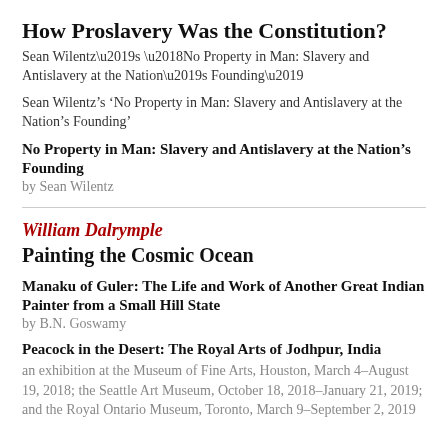How Proslavery Was the Constitution?
Sean Wilentz’s ‘No Property in Man: Slavery and Antislavery at the Nation’s Founding’
No Property in Man: Slavery and Antislavery at the Nation’s Founding
by Sean Wilentz
William Dalrymple
Painting the Cosmic Ocean
Manaku of Guler: The Life and Work of Another Great Indian Painter from a Small Hill State
by B.N. Goswamy
Peacock in the Desert: The Royal Arts of Jodhpur, India
an exhibition at the Museum of Fine Arts, Houston, March 4–August 19, 2018; the Seattle Art Museum, October 18, 2018–January 21, 2019; and the Royal Ontario Museum, Toronto, March 9–September 2, 2019